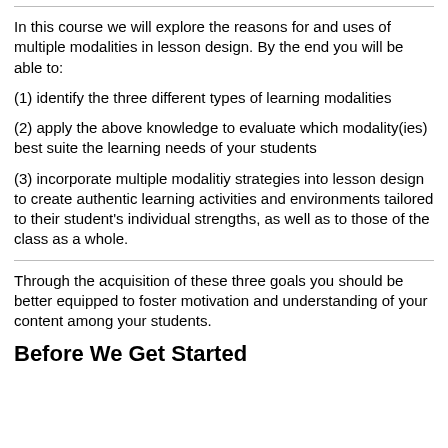In this course we will explore the reasons for and uses of multiple modalities in lesson design. By the end you will be able to:
(1) identify the three different types of learning modalities
(2) apply the above knowledge to evaluate which modality(ies) best suite the learning needs of your students
(3) incorporate multiple modalitiy strategies into lesson design to create authentic learning activities and environments tailored to their student's individual strengths, as well as to those of the class as a whole.
Through the acquisition of these three goals you should be better equipped to foster motivation and understanding of your content among your students.
Before We Get Started